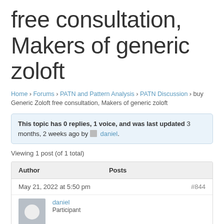free consultation, Makers of generic zoloft
Home › Forums › PATN and Pattern Analysis › PATN Discussion › buy Generic Zoloft free consultation, Makers of generic zoloft
This topic has 0 replies, 1 voice, and was last updated 3 months, 2 weeks ago by daniel.
Viewing 1 post (of 1 total)
| Author | Posts |
| --- | --- |
| May 21, 2022 at 5:50 pm | #844 |
| daniel
Participant |  |